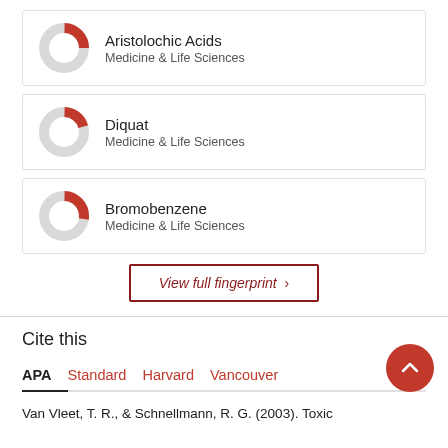[Figure (donut-chart): Donut chart showing partial fill in red for Aristolochic Acids, Medicine & Life Sciences]
Aristolochic Acids
Medicine & Life Sciences
[Figure (donut-chart): Donut chart showing partial fill in red for Diquat, Medicine & Life Sciences]
Diquat
Medicine & Life Sciences
[Figure (donut-chart): Donut chart showing partial fill in red for Bromobenzene, Medicine & Life Sciences]
Bromobenzene
Medicine & Life Sciences
View full fingerprint >
Cite this
APA   Standard   Harvard   Vancouver
Van Vleet, T. R., & Schnellmann, R. G. (2003). Toxic